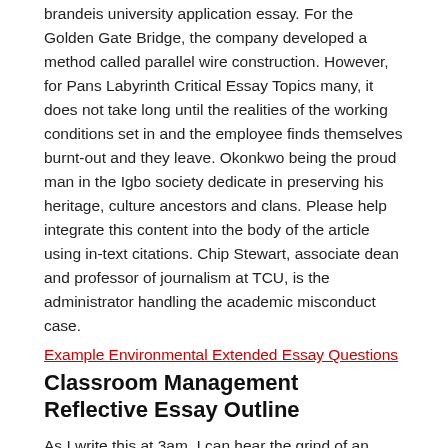brandeis university application essay. For the Golden Gate Bridge, the company developed a method called parallel wire construction. However, for Pans Labyrinth Critical Essay Topics many, it does not take long until the realities of the working conditions set in and the employee finds themselves burnt-out and they leave. Okonkwo being the proud man in the Igbo society dedicate in preserving his heritage, culture ancestors and clans. Please help integrate this content into the body of the article using in-text citations. Chip Stewart, associate dean and professor of journalism at TCU, is the administrator handling the academic misconduct case.
Example Environmental Extended Essay Questions
Classroom Management Reflective Essay Outline
As I write this at 3am, I can hear the grind of an earthmover outside laying the foundations of another mall in central Beijing. We know that you care how we use information about you and we appreciate your trust in us to do that